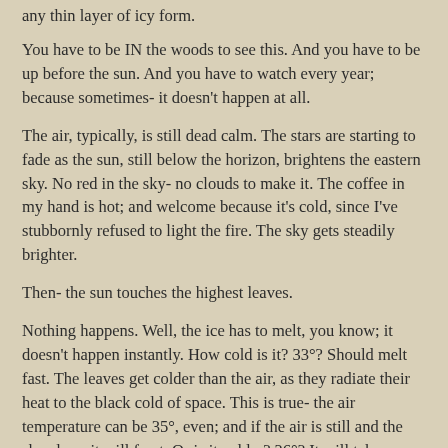any thin layer of icy form.
You have to be IN the woods to see this. And you have to be up before the sun. And you have to watch every year; because sometimes- it doesn't happen at all.
The air, typically, is still dead calm. The stars are starting to fade as the sun, still below the horizon, brightens the eastern sky. No red in the sky- no clouds to make it. The coffee in my hand is hot; and welcome because it's cold, since I've stubbornly refused to light the fire. The sky gets steadily brighter.
Then- the sun touches the highest leaves.
Nothing happens. Well, the ice has to melt, you know; it doesn't happen instantly. How cold is it? 33°? Should melt fast. The leaves get colder than the air, as they radiate their heat to the black cold of space. This is true- the air temperature can be 35°, even; and if the air is still and the sky clear- it will frost. Or is it colder? 26°? It will take longer to melt if it's cold.